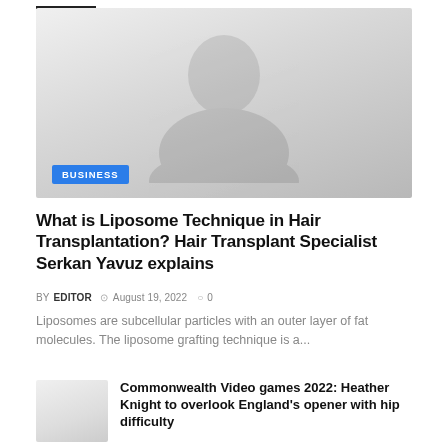[Figure (photo): Faded silhouette portrait image used as article thumbnail, with a blue BUSINESS category tag overlaid at bottom left]
What is Liposome Technique in Hair Transplantation? Hair Transplant Specialist Serkan Yavuz explains
BY EDITOR  August 19, 2022  0
Liposomes are subcellular particles with an outer layer of fat molecules. The liposome grafting technique is a...
Commonwealth Video games 2022: Heather Knight to overlook England's opener with hip difficulty